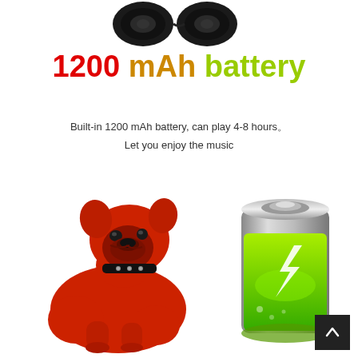[Figure (photo): Top portion showing black speaker/earbuds at the top of the page]
1200 mAh battery
Built-in 1200 mAh battery, can play 4-8 hours.
Let you enjoy the music
[Figure (photo): Red French bulldog shaped Bluetooth speaker figurine on the left, and a green glowing battery icon on the right]
[Figure (other): Back/up navigation button (dark square with upward arrow) in bottom-right corner]